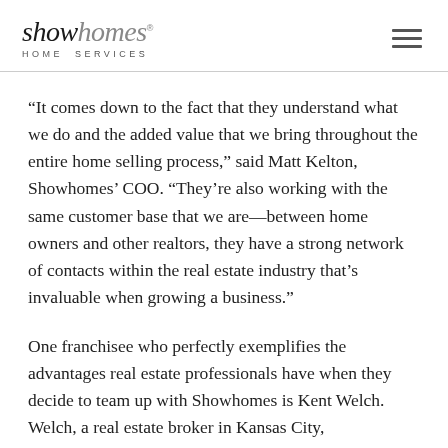showhomes HOME SERVICES
“It comes down to the fact that they understand what we do and the added value that we bring throughout the entire home selling process,” said Matt Kelton, Showhomes’ COO. “They’re also working with the same customer base that we are—between home owners and other realtors, they have a strong network of contacts within the real estate industry that’s invaluable when growing a business.”
One franchisee who perfectly exemplifies the advantages real estate professionals have when they decide to team up with Showhomes is Kent Welch. Welch, a real estate broker in Kansas City,